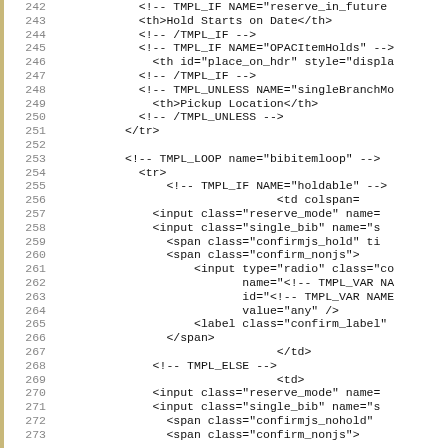[Figure (screenshot): Source code listing showing HTML template code with line numbers 242-273, featuring template engine directives (TMPL_IF, TMPL_UNLESS, TMPL_LOOP, TMPL_VAR, TMPL_ELSE) and HTML elements including table headers and input elements.]